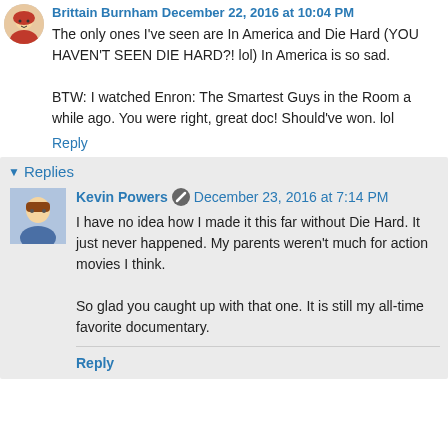The only ones I've seen are In America and Die Hard (YOU HAVEN'T SEEN DIE HARD?! lol) In America is so sad.

BTW: I watched Enron: The Smartest Guys in the Room a while ago. You were right, great doc! Should've won. lol
Reply
Replies
Kevin Powers  December 23, 2016 at 7:14 PM
I have no idea how I made it this far without Die Hard. It just never happened. My parents weren't much for action movies I think.

So glad you caught up with that one. It is still my all-time favorite documentary.
Reply